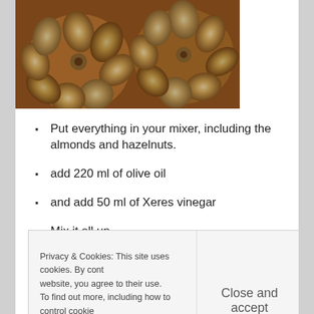[Figure (photo): Close-up photograph of roasted garlic bulbs showing caramelized cloves]
Put everything in your mixer, including the almonds and hazelnuts.
add 220 ml of olive oil
and add 50 ml of Xeres vinegar
Mix it all up
According to your own taste add some salt
Privacy & Cookies: This site uses cookies. By cont website, you agree to their use. To find out more, including how to control cookie
Close and accept
form, so for those going to Spain on a holiday, have a look in